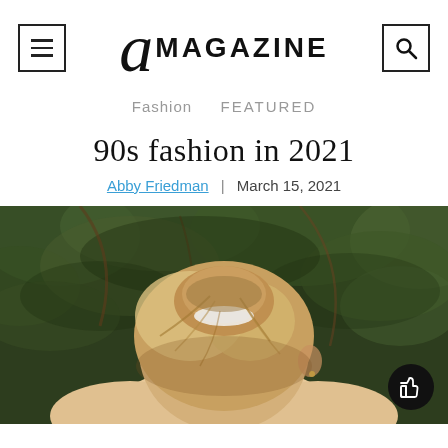a MAGAZINE
Fashion   FEATURED
90s fashion in 2021
Abby Friedman | March 15, 2021
[Figure (photo): A woman with blonde hair styled up with a white scrunchie, photographed from behind against a dark green foliage/tree background]